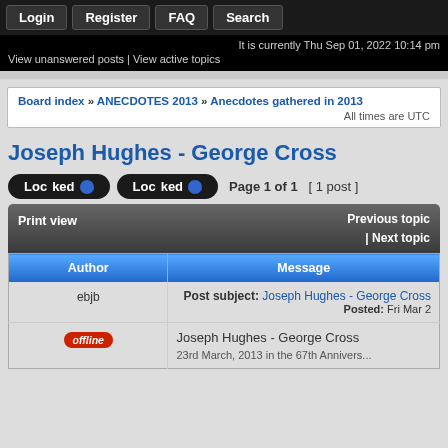Login | Register | FAQ | Search
It is currently Thu Sep 01, 2022 10:14 pm
View unanswered posts | View active topics
Board index » ANECDOTES 2013 » Anecdotes gathered in 2013 — All times are UTC
Joseph Hughes - George Cross
Locked  Locked  Page 1 of 1  [ 1 post ]
Print view | Previous topic | Next topic
| Author | Message |
| --- | --- |
| ebjb | Post subject: Joseph Hughes - George Cross
Posted: Fri Mar 2 |
| offline | Joseph Hughes - George Cross
23rd March, 2013 in the 67th Annivers... |